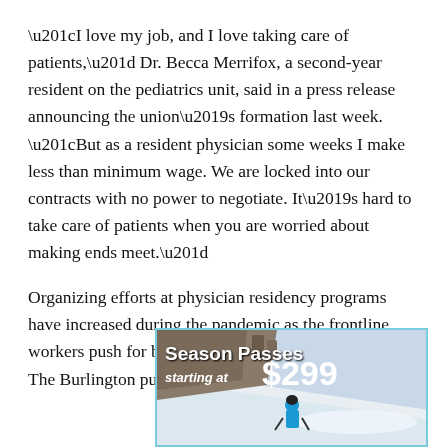“I love my job, and I love taking care of patients,” Dr. Becca Merrifox, a second-year resident on the pediatrics unit, said in a press release announcing the union’s formation last week. “But as a resident physician some weeks I make less than minimum wage. We are locked into our contracts with no power to negotiate. It’s hard to take care of patients when you are worried about making ends meet.”
Organizing efforts at physician residency programs have increased during the pandemic as the frontline workers push for better pay and working conditions. The Burlington push began last year and picked up
[Figure (photo): Advertisement banner for Season Passes starting at $299, featuring a skier on a snowy slope with mountains in the background. Text reads 'Season Passes starting at $299']